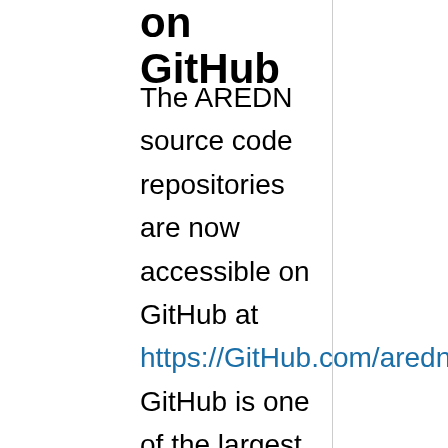on GitHub
The AREDN source code repositories are now accessible on GitHub at https://GitHub.com/aredn/aredn_ar71 .  GitHub is one of the largest open source hosting services with over 40 million users. Anyone with basic knowledge of Linux and git can now